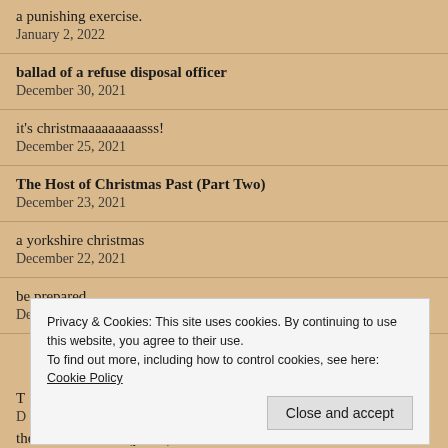a punishing exercise.
January 2, 2022
ballad of a refuse disposal officer
December 30, 2021
it's christmaaaaaaaaasss!
December 25, 2021
The Host of Christmas Past (Part Two)
December 23, 2021
a yorkshire christmas
December 22, 2021
be prepared.
December 21, 2021
Privacy & Cookies: This site uses cookies. By continuing to use this website, you agree to their use.
To find out more, including how to control cookies, see here: Cookie Policy
Close and accept
the first christmas (part 2)